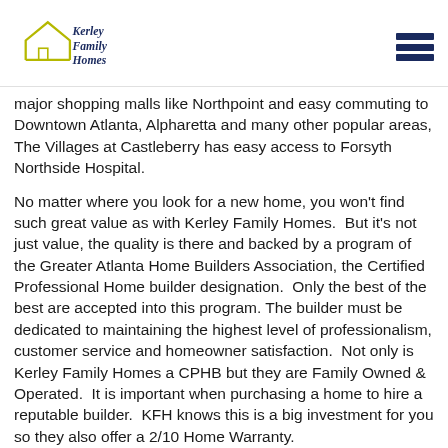[Figure (logo): Kerley Family Homes logo with house outline and stylized text]
major shopping malls like Northpoint and easy commuting to Downtown Atlanta, Alpharetta and many other popular areas, The Villages at Castleberry has easy access to Forsyth Northside Hospital.
No matter where you look for a new home, you won't find such great value as with Kerley Family Homes.  But it's not just value, the quality is there and backed by a program of the Greater Atlanta Home Builders Association, the Certified Professional Home builder designation.  Only the best of the best are accepted into this program. The builder must be dedicated to maintaining the highest level of professionalism, customer service and homeowner satisfaction.  Not only is Kerley Family Homes a CPHB but they are Family Owned & Operated.  It is important when purchasing a home to hire a reputable builder.  KFH knows this is a big investment for you so they also offer a 2/10 Home Warranty.
Available Homes: